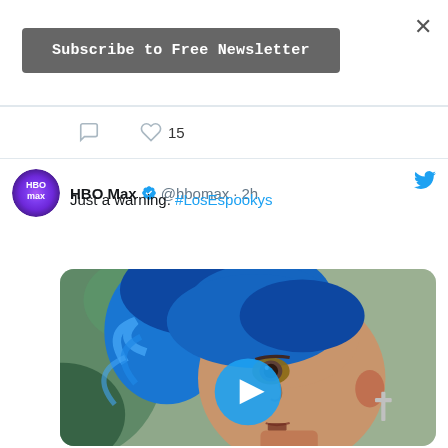×
Subscribe to Free Newsletter
[Figure (screenshot): Tweet interaction icons: comment bubble and heart with count 15]
[Figure (screenshot): Tweet from HBO Max (@hbomax) 2h ago: 'Just a warning. #LosEspookys' with a video thumbnail showing a person with blue hair and a cross earring, with a play button overlay]